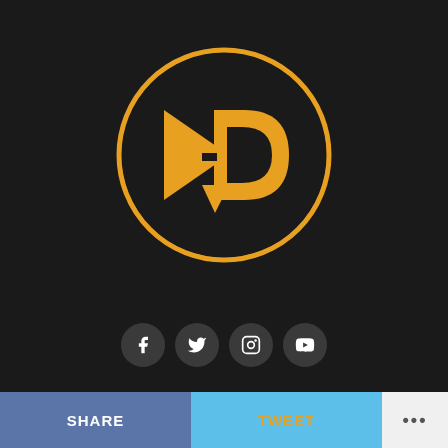[Figure (logo): Orange circular logo with a stylized 'D' or play-button arrow shape made of orange geometric forms on a dark background with an orange circle outline]
[Figure (infographic): Four social media icon buttons in dark circles: Facebook (f), Twitter (bird), Instagram (camera), YouTube (play)]
HOME   DIGITAL MARKETING 1ON1   AMEYAW TV   ABOUT AMEYAW DEBRAH   CONTACT US   GHANAIAN CELEBRITIES
SHARE   TWEET   ...